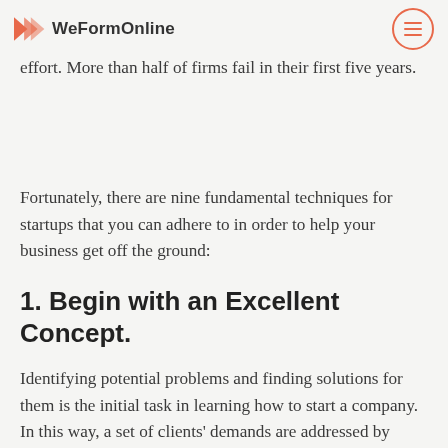WeFormOnline
time it might be a bit frightening if you've never done it before. As a result, it requires a great deal of time and effort. More than half of firms fail in their first five years.
Fortunately, there are nine fundamental techniques for startups that you can adhere to in order to help your business get off the ground:
1. Begin with an Excellent Concept.
Identifying potential problems and finding solutions for them is the initial task in learning how to start a company. In this way, a set of clients' demands are addressed by successful entrepreneurs. But you don't necessarily have to come up with a whole